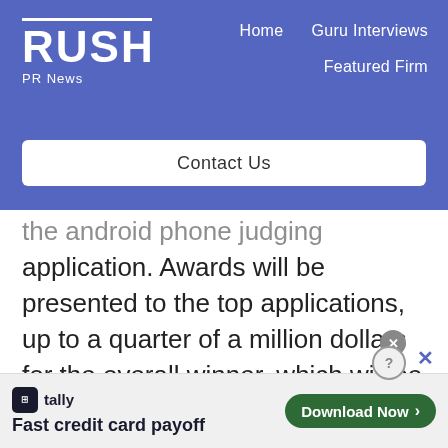RUSH PR News — Home | Guru Interviews | Featured Firm
Contact Us
the android phone judging application. Awards will be presented to the top applications, up to a quarter of a million dollars for the overall winner, which will be announced in November 2009. More information on ADC 2 can be found at
[Figure (other): Tally app advertisement banner: tally icon, 'Fast credit card payoff' tagline, Download Now button, close/help icons]